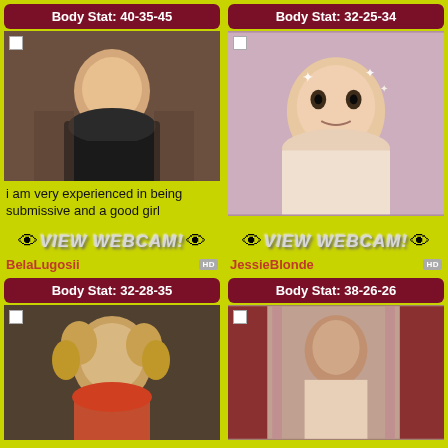Body Stat: 40-35-45
[Figure (photo): Blonde woman in black lingerie, selfie style]
i am very experienced in being submissive and a good girl
[Figure (photo): VIEW WEBCAM! button with eye emojis]
BelaLugosii
Body Stat: 32-28-35
[Figure (photo): Woman with curly blonde hair]
Body Stat: 32-25-34
[Figure (photo): Dark-haired young woman in pink, close-up selfie]
[Figure (photo): VIEW WEBCAM! button with eye emojis]
JessieBlonde
Body Stat: 38-26-26
[Figure (photo): Brunette woman, curtains in background]